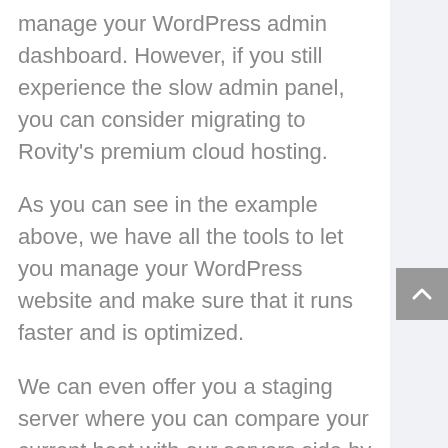manage your WordPress admin dashboard. However, if you still experience the slow admin panel, you can consider migrating to Rovity's premium cloud hosting.
As you can see in the example above, we have all the tools to let you manage your WordPress website and make sure that it runs faster and is optimized.
We can even offer you a staging server where you can compare your current host with our servers side by side. For this, you don't need to migrate your production website to Rovity.
This will help you pinpoint the best suitable